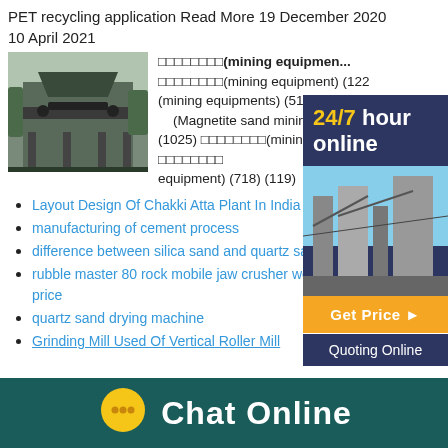PET recycling application Read More 19 December 2020
10 April 2021
[Figure (photo): Mining equipment machinery photo]
aaaaaaaa(mining equipment) (122) (mining equipments) (514) aaaa (Magnetite sand mining equipment) (1025) aaaaaaaa(mining equipment) (82) aaaaaaaa equipment) (718) (119)
[Figure (infographic): 24/7 hour online sidebar with industrial photo, Get Price button, Quoting Online button]
Layout Design Of Chakki Atta Plant In India
manufacturing of cement process
difference between silica sand and quartz sa...
rubble master 80 rock mobile jaw crusher west africa price
quartz sand drying machine
Grinding Mill Used Of Vertical Roller Mill
Chat Online